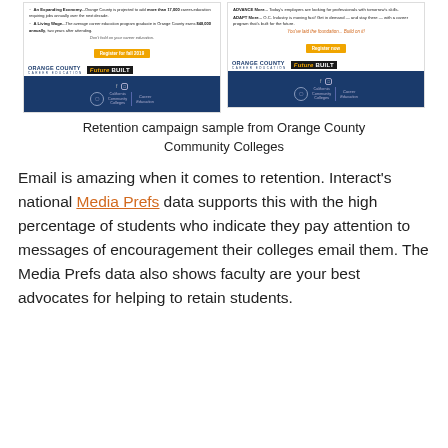[Figure (illustration): Two side-by-side Orange County Career Education 'Future Built' retention campaign email flyer samples, showing bullet-pointed career education benefits, register buttons, logos, and dark blue footers with California Community Colleges Career Education branding.]
Retention campaign sample from Orange County Community Colleges
Email is amazing when it comes to retention. Interact's national Media Prefs data supports this with the high percentage of students who indicate they pay attention to messages of encouragement their colleges email them. The Media Prefs data also shows faculty are your best advocates for helping to retain students.